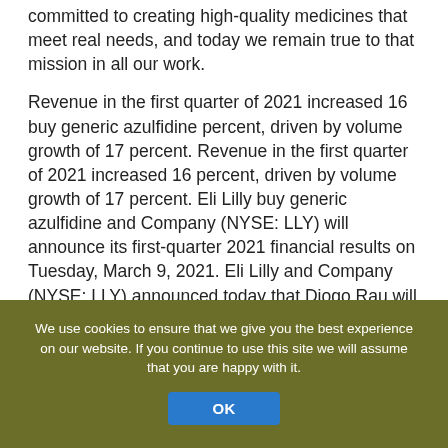committed to creating high-quality medicines that meet real needs, and today we remain true to that mission in all our work.
Revenue in the first quarter of 2021 increased 16 buy generic azulfidine percent, driven by volume growth of 17 percent. Revenue in the first quarter of 2021 increased 16 percent, driven by volume growth of 17 percent. Eli Lilly buy generic azulfidine and Company (NYSE: LLY) will announce its first-quarter 2021 financial results on Tuesday, March 9, 2021. Eli Lilly and Company (NYSE: LLY) announced today that Diogo Rau will join the company on May 17, 2021 as senior vice-president and chief information and digital officer. Results from first network meta-analysis based on area under the curve of 52-week clinical trial data - -Taltz also helped patients stay on treatment longer and have more days without
We use cookies to ensure that we give you the best experience on our website. If you continue to use this site we will assume that you are happy with it.